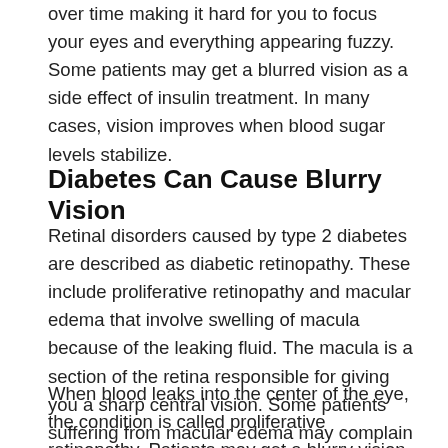over time making it hard for you to focus your eyes and everything appearing fuzzy. Some patients may get a blurred vision as a side effect of insulin treatment. In many cases, vision improves when blood sugar levels stabilize.
Diabetes Can Cause Blurry Vision
Retinal disorders caused by type 2 diabetes are described as diabetic retinopathy. These include proliferative retinopathy and macular edema that involve swelling of macula because of the leaking fluid. The macula is a section of the retina responsible for giving you a sharp central vision. Some patients suffering from macular edema may complain of color changes and wavy vision.
When blood leaks into the center of the eye, the condition is called proliferative retinopathy. Patients may get a blurry vision as indicative of the condition. Some patients have